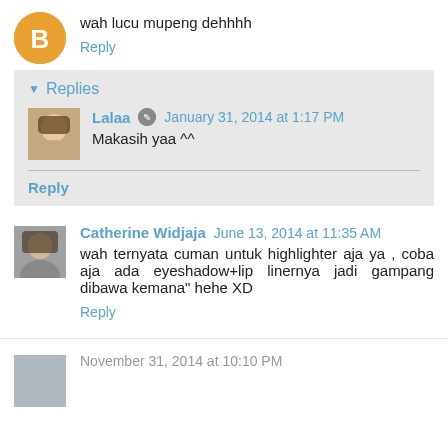wah lucu mupeng dehhhh
Reply
Replies
Lalaa   January 31, 2014 at 1:17 PM
Makasih yaa ^^
Reply
Catherine Widjaja   June 13, 2014 at 11:35 AM
wah ternyata cuman untuk highlighter aja ya , coba aja ada eyeshadow+lip linernya jadi gampang dibawa kemana" hehe XD
Reply
November 31, 2014 at 10:10 PM